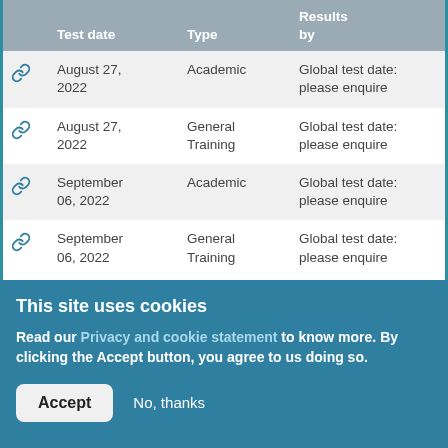|  | Test date | Type | Results by | Test fee |
| --- | --- | --- | --- | --- |
| 🔗 | August 27, 2022 | Academic | Global test date: please enquire |  |
| 🔗 | August 27, 2022 | General Training | Global test date: please enquire |  |
| 🔗 | September 06, 2022 | Academic | Global test date: please enquire |  |
| 🔗 | September 06, 2022 | General Training | Global test date: please enquire |  |
This site uses cookies
Read our Privacy and cookie statement to know more. By clicking the Accept button, you agree to us doing so.